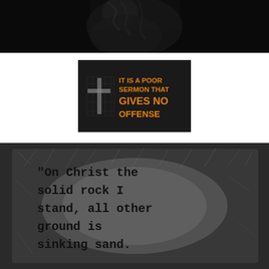[Figure (photo): Dark black and white photograph at top, appears to show a person in shadows]
[Figure (illustration): Dark background image with a cross silhouette on the left and orange bold text reading: IT IS A POOR SERMON THAT GIVES NO OFFENSE]
[Figure (photo): Black and white scratched/textured background with typewriter-style text: On Christ the solid rock I stand, all other ground is sinking sand.]